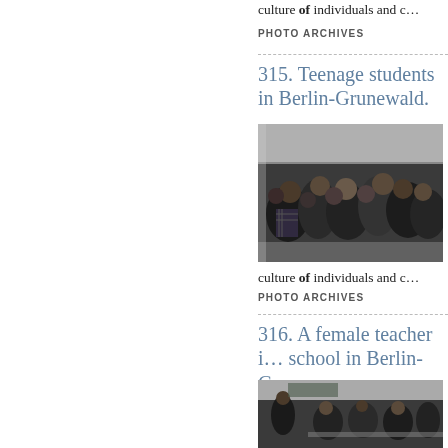culture of individuals and c…
PHOTO ARCHIVES
315. Teenage students in Berlin-Grunewald.
[Figure (photo): Black and white photograph of teenage students sitting at desks in a classroom in Berlin-Grunewald.]
the … that … Germ… CHI… INT… culture of individuals and c…
PHOTO ARCHIVES
316. A female teacher in school in Berlin-Grun…
[Figure (photo): Black and white photograph of a female teacher at school in Berlin-Grunewald.]
the … that …